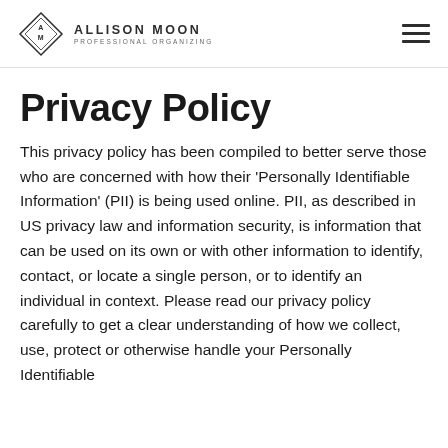ALLISON MOON PROFESSIONAL ORGANIZING
Privacy Policy
This privacy policy has been compiled to better serve those who are concerned with how their 'Personally Identifiable Information' (PII) is being used online. PII, as described in US privacy law and information security, is information that can be used on its own or with other information to identify, contact, or locate a single person, or to identify an individual in context. Please read our privacy policy carefully to get a clear understanding of how we collect, use, protect or otherwise handle your Personally Identifiable